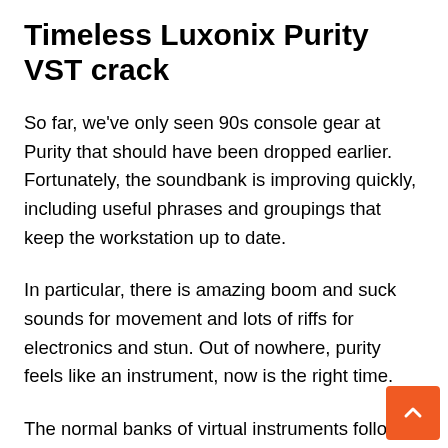Timeless Luxonix Purity VST crack
So far, we've only seen 90s console gear at Purity that should have been dropped earlier. Fortunately, the soundbank is improving quickly, including useful phrases and groupings that keep the workstation up to date.
In particular, there is amazing boom and suck sounds for movement and lots of riffs for electronics and stun. Out of nowhere, purity feels like an instrument, now is the right time.
The normal banks of virtual instruments follow this model; It is a somewhat varied range. Drums offer useful rhythms in a variety of packages, while pianos make a great mix too. The organs